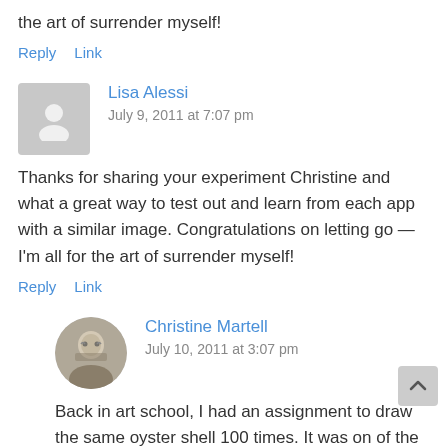the art of surrender myself!
Reply   Link
Lisa Alessi
July 9, 2011 at 7:07 pm
Thanks for sharing your experiment Christine and what a great way to test out and learn from each app with a similar image. Congratulations on letting go — I'm all for the art of surrender myself!
Reply   Link
Christine Martell
July 10, 2011 at 3:07 pm
Back in art school, I had an assignment to draw the same oyster shell 100 times. It was on of the most difficult, but most fruitful exercises I did. We had something different to express in each one. It opened